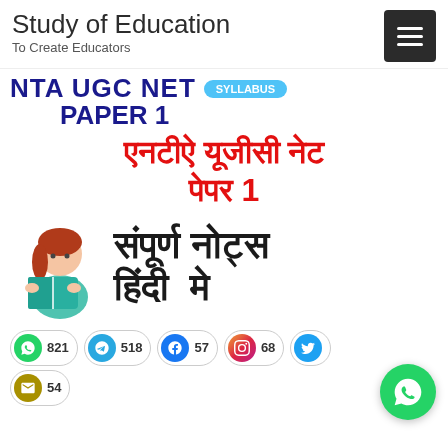Study of Education
To Create Educators
[Figure (infographic): NTA UGC NET PAPER 1 SYLLABUS banner with Hindi text: एनटीऐ यूजीसी नेट पेपर 1 संपूर्ण नोट्स हिंदी मे, with a girl reading a book illustration and social share buttons (WhatsApp 821, Telegram 518, Facebook 57, Instagram 68, Twitter, Email 54)]